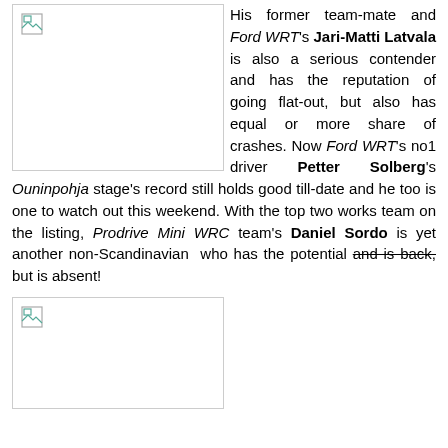[Figure (photo): Broken image placeholder (top left), large rectangle with broken image icon]
His former team-mate and Ford WRT's Jari-Matti Latvala is also a serious contender and has the reputation of going flat-out, but also has equal or more share of crashes. Now Ford WRT's no1 driver Petter Solberg's Ouninpohja stage's record still holds good till-date and he too is one to watch out this weekend. With the top two works team on the listing, Prodrive Mini WRC team's Daniel Sordo is yet another non-Scandinavian who has the potential and is back, but is absent!
[Figure (photo): Broken image placeholder (bottom left), smaller rectangle with broken image icon]